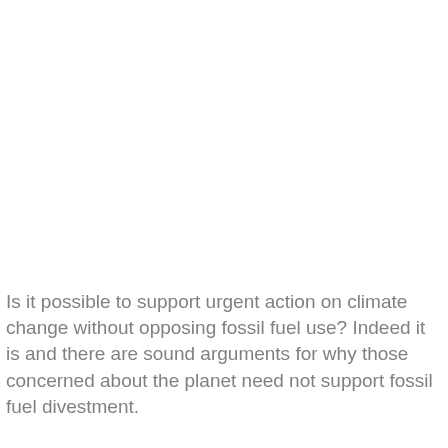Is it possible to support urgent action on climate change without opposing fossil fuel use? Indeed it is and there are sound arguments for why those concerned about the planet need not support fossil fuel divestment.